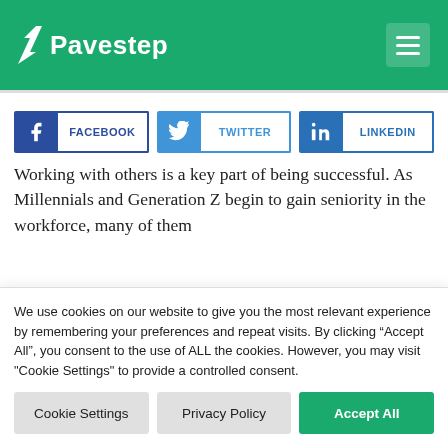Pavestep
[Figure (logo): Pavestep logo with green background and menu icon]
[Figure (infographic): Social sharing buttons: Facebook, Twitter, LinkedIn]
Working with others is a key part of being successful. As Millennials and Generation Z begin to gain seniority in the workforce, many of them
We use cookies on our website to give you the most relevant experience by remembering your preferences and repeat visits. By clicking "Accept All", you consent to the use of ALL the cookies. However, you may visit "Cookie Settings" to provide a controlled consent.